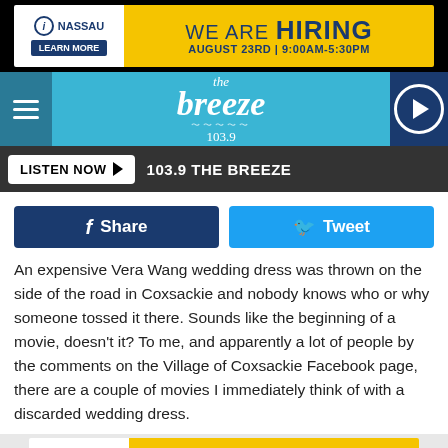[Figure (infographic): Nassau hiring advertisement banner: white left panel with Nassau logo and Learn More button, yellow right panel with 'WE ARE HIRING' text and date August 23rd 9:00AM-5:30PM]
[Figure (logo): The Breeze 103.9 radio station navigation bar with hamburger menu, logo, and play button]
[Figure (infographic): Listen Now button with 103.9 THE BREEZE station name on dark gray bar]
[Figure (infographic): Facebook Share and Twitter Tweet social sharing buttons]
An expensive Vera Wang wedding dress was thrown on the side of the road in Coxsackie and nobody knows who or why someone tossed it there. Sounds like the beginning of a movie, doesn't it? To me, and apparently a lot of people by the comments on the Village of Coxsackie Facebook page, there are a couple of movies I immediately think of with a discarded wedding dress.
[Figure (infographic): Nassau hiring advertisement banner (smaller): white left panel with Nassau logo and Learn More button, yellow right panel with WE ARE HIRING and August 23rd 9:00AM-5:30PM]